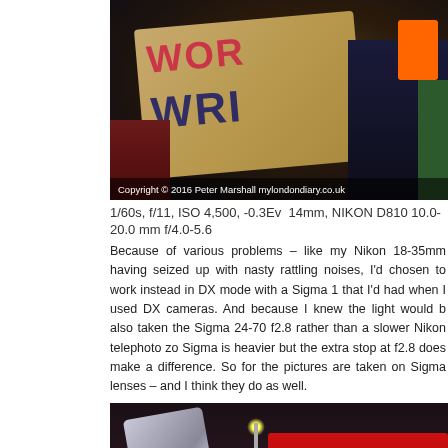[Figure (photo): Nighttime protest scene showing people holding a large banner with red and dark blue lettering on a beige/tan background. A person in an orange vest visible at top, someone in a dark jacket on the right, and red clothing visible at the lower left.]
1/60s, f/11, ISO 4,500, -0.3Ev  14mm, NIKON D810 10.0-20.0 mm f/4.0-5.6
Because of various problems – like my Nikon 18-35mm having seized up with nasty rattling noises, I’d chosen to work instead in DX mode with a Sigma 1 that I’d had when I used DX cameras. And because I knew the light would b also taken the Sigma 24-70 f2.8 rather than a slower Nikon telephoto zo Sigma is heavier but the extra stop at f2.8 does make a difference. So for the pictures are taken on Sigma lenses – and I think they do as well.
[Figure (photo): Nighttime street scene showing a protest. A person holds a large silver/foil reflective object on the left. In the background, a red London double-decker bus is visible on the right along with illuminated city buildings. A smiling man is visible in the foreground right.]